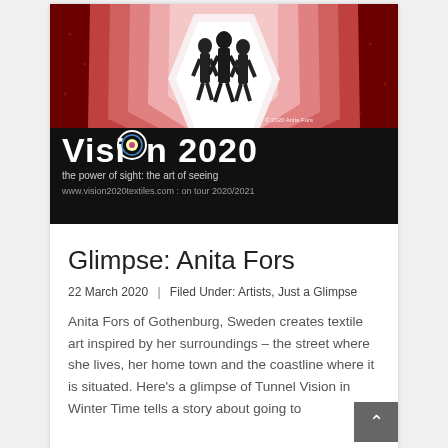[Figure (photo): A textile art image showing a tunnel/corridor with dark silhouetted figures against a white hexagonal light surrounded by red/crimson textile art. Below is a black banner with 'Vision 2020 – the power of sight: the art of seeing' and website URL. Copyright 2020 Anita Fors is shown.]
Glimpse: Anita Fors
22 March 2020  |  Filed Under: Artists, Just a Glimpse
Anita Fors of Gothenburg, Sweden creates textile art inspired by her surroundings – the street where she lives, her home town and the coastline where it is situated. Here's a glimpse of Tunnel Vision in Winter Time tells a story about going to